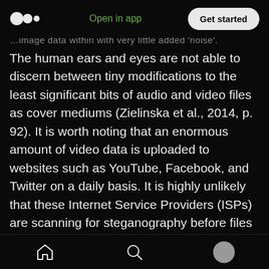Medium logo | Open in app | Get started
…image data within with very little added 'noise'.
The human ears and eyes are not able to discern between tiny modifications to the least significant bits of audio and video files as cover mediums (Zielinska et al., 2014, p. 92). It is worth noting that an enormous amount of video data is uploaded to websites such as YouTube, Facebook, and Twitter on a daily basis. It is highly unlikely that these Internet Service Providers (ISPs) are scanning for steganography before files are successfully uploaded to these websites. This is a potentially dangerous form of neglect due to the fact that there is a high degree of malware and other illicit
Home | Search | Profile